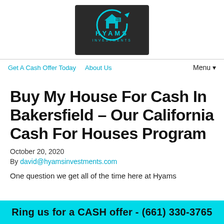[Figure (logo): Hyams Investments logo — dark background with teal circular arrow icon, house/building symbol, and text HYAMS INVESTMENTS]
Get A Cash Offer Today   About Us   Menu ▾
Buy My House For Cash In Bakersfield – Our California Cash For Houses Program
October 20, 2020
By david@hyamsinvestments.com
One question we get all of the time here at Hyams
Ring us for a CASH offer - (661) 330-3765